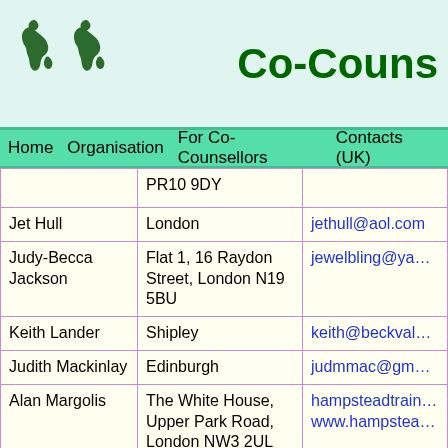Co-Couns
Home  Organisation  For Co-Counsellors  Contacts (UK)
| Name | Location | Email |
| --- | --- | --- |
|  | PR10 9DY |  |
| Jet Hull | London | jethull@aol.com |
| Judy-Becca Jackson | Flat 1, 16 Raydon Street, London N19 5BU | jewelbling@yahoo.co.uk |
| Keith Lander | Shipley | keith@beckvale.co.uk |
| Judith Mackinlay | Edinburgh | judmmac@gmail.com |
| Alan Margolis | The White House, Upper Park Road, London NW3 2UL | hampsteadtraining@gmail www.hampsteadtraining.co |
|  | 637 Roundhay |  |